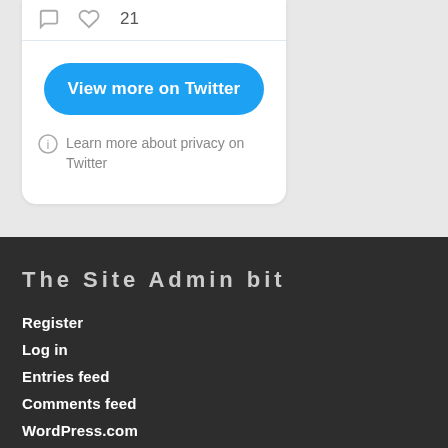[Figure (screenshot): Bottom portion of a Twitter/X embedded widget showing icons for comment and heart (like) with count 21, a blue 'View more on Twitter' button, and a privacy notice 'Learn more about privacy on Twitter'.]
View more on Twitter
Learn more about privacy on Twitter
The Site Admin bit
Register
Log in
Entries feed
Comments feed
WordPress.com